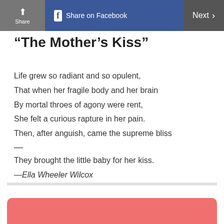Share | Share on Facebook | Next >
“The Mother’s Kiss”
Life grew so radiant and so opulent,
That when her fragile body and her brain
By mortal throes of agony were rent,
She felt a curious rapture in her pain.
Then, after anguish, came the supreme bliss
—
They brought the little baby for her kiss.

—Ella Wheeler Wilcox